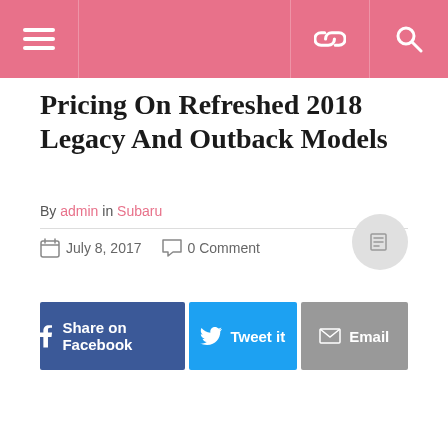Navigation header with menu, link, and search icons
Pricing On Refreshed 2018 Legacy And Outback Models
By admin in Subaru
July 8, 2017  0 Comment
Share on Facebook  Tweet it  Email